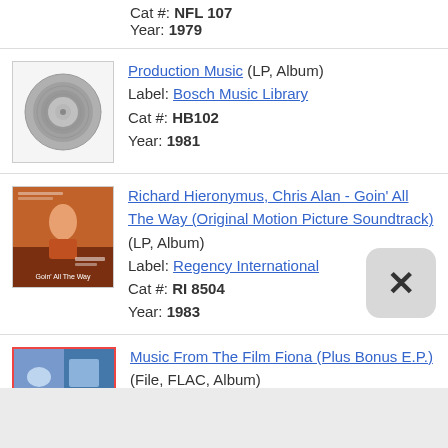Cat #: NFL 107
Year: 1979
[Figure (illustration): Vinyl record album cover thumbnail - gray disc icon]
Production Music (LP, Album)
Label: Bosch Music Library
Cat #: HB102
Year: 1981
[Figure (photo): Album cover thumbnail for Goin' All The Way soundtrack]
Richard Hieronymus, Chris Alan - Goin' All The Way (Original Motion Picture Soundtrack) (LP, Album)
Label: Regency International
Cat #: RI 8504
Year: 1983
[Figure (photo): Album cover thumbnail for Music From The Film Fiona]
Music From The Film Fiona (Plus Bonus E.P.) (File, FLAC, Album)
Label: Sound Preservation Records
Cat #: SPR 108
Year: 2019